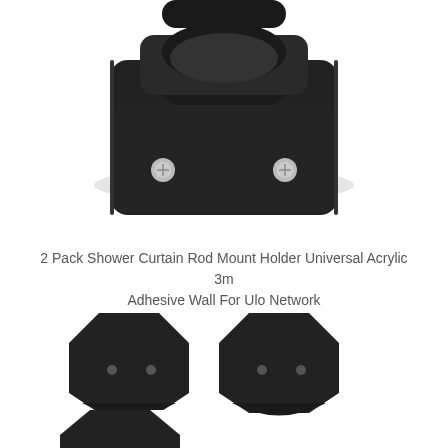[Figure (photo): Close-up photo of a black wall-mount bracket holder with two silver screws and a rounded rod slot, viewed from front/top angle]
2 Pack Shower Curtain Rod Mount Holder Universal Acrylic 3m Adhesive Wall For Ulo Network
[Figure (photo): Two black octagonal wall mount bracket holders with holes, side by side, viewed from front]
[Figure (photo): Single black octagonal wall mount bracket holder, partially visible at bottom of page]